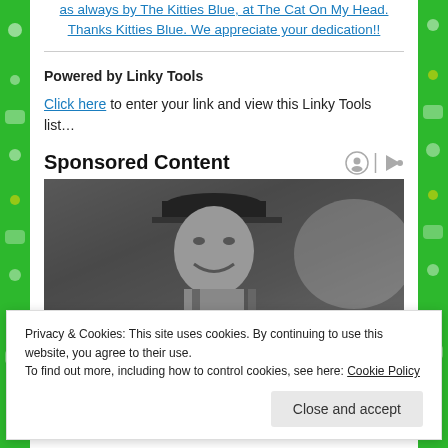as always by The Kitties Blue, at The Cat On My Head. Thanks Kitties Blue. We appreciate your dedication!!
Powered by Linky Tools
Click here to enter your link and view this Linky Tools list…
Sponsored Content
[Figure (photo): Black and white photo of a smiling man wearing a baseball cap and jersey]
Privacy & Cookies: This site uses cookies. By continuing to use this website, you agree to their use. To find out more, including how to control cookies, see here: Cookie Policy
Close and accept